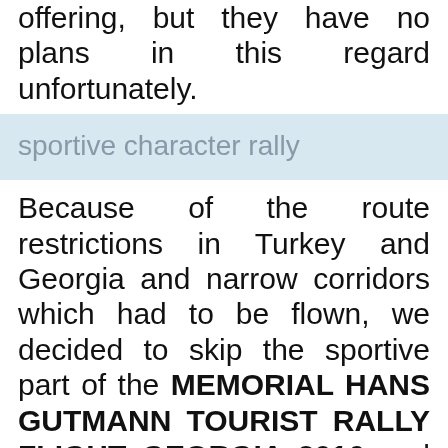offering, but they have no plans in this regard unfortunately.
sportive character rally
Because of the route restrictions in Turkey and Georgia and narrow corridors which had to be flown, we decided to skip the sportive part of the MEMORIAL HANS GUTMANN TOURIST RALLY FLIGHT GEORGIA 2016 and focus rather on the tourist part of the event.
A new destination for general aviation
One can clearly state that Turkey and Georgia are new